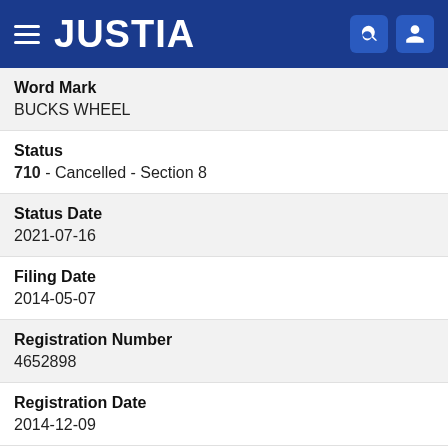JUSTIA
Word Mark
BUCKS WHEEL
Status
710 - Cancelled - Section 8
Status Date
2021-07-16
Filing Date
2014-05-07
Registration Number
4652898
Registration Date
2014-12-09